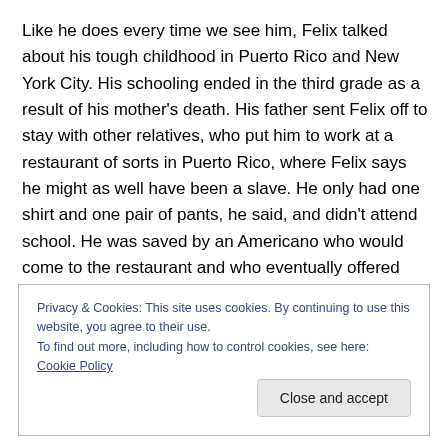Like he does every time we see him, Felix talked about his tough childhood in Puerto Rico and New York City. His schooling ended in the third grade as a result of his mother's death. His father sent Felix off to stay with other relatives, who put him to work at a restaurant of sorts in Puerto Rico, where Felix says he might as well have been a slave. He only had one shirt and one pair of pants, he said, and didn't attend school. He was saved by an Americano who would come to the restaurant and who eventually offered him a better job. Felix ended up in a
Privacy & Cookies: This site uses cookies. By continuing to use this website, you agree to their use.
To find out more, including how to control cookies, see here: Cookie Policy
Close and accept